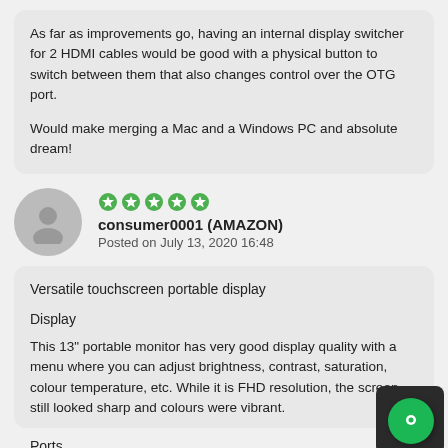As far as improvements go, having an internal display switcher for 2 HDMI cables would be good with a physical button to switch between them that also changes control over the OTG port.

Would make merging a Mac and a Windows PC and absolute dream!
[Figure (other): User avatar - grey circle with silhouette person icon]
[Figure (other): 5 green star rating icons]
consumer0001 (AMAZON)
Posted on July 13, 2020 16:48
Versatile touchscreen portable display
Display
This 13" portable monitor has very good display quality with a menu where you can adjust brightness, contrast, saturation, colour temperature, etc. While it is FHD resolution, the screen still looked sharp and colours were vibrant.
Ports